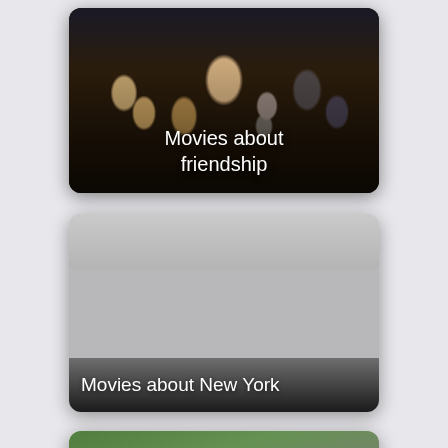[Figure (screenshot): Movie collection card showing animated dogs with text 'Movies about friendship']
[Figure (screenshot): Gray placeholder card with text 'Movies about New York']
[Figure (screenshot): Partially visible movie card showing people in outdoor scene, cut off at bottom]